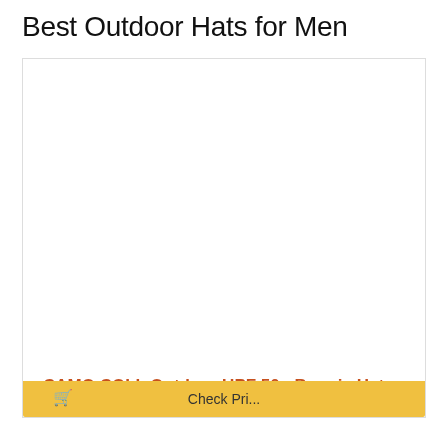Best Outdoor Hats for Men
[Figure (photo): Product image area for CAMO COLL Outdoor UPF 50+ Boonie Hat - white/empty image placeholder inside a bordered box]
CAMO COLL Outdoor UPF 50+ Boonie Hat...
Check Price